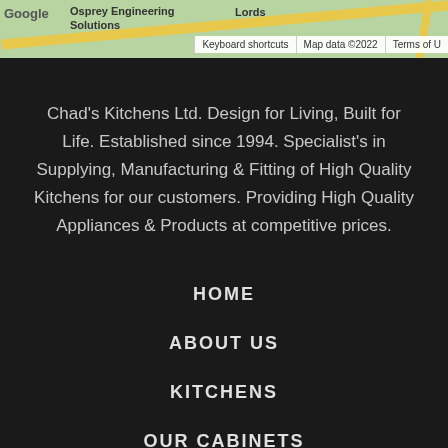[Figure (screenshot): Google Maps snippet showing roads and labels including 'Google', 'Osprey Engineering Solutions', 'Lords' partial text, with toolbar showing 'Keyboard shortcuts', 'Map data ©2022', 'Terms of U']
Chad's Kitchens Ltd. Design for Living, Built for Life. Established since 1994. Specialist's in Supplying, Manufacturing & Fitting of High Quality Kitchens for our customers. Providing High Quality Appliances & Products at competitive prices.
HOME
ABOUT US
KITCHENS
OUR CABINETS
GALLERY
VIDEO